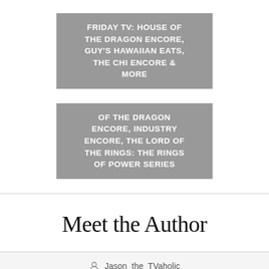FRIDAY TV: HOUSE OF THE DRAGON ENCORE, GUY'S HAWAIIAN EATS, THE CHI ENCORE & MORE
OF THE DRAGON ENCORE, INDUSTRY ENCORE, THE LORD OF THE RINGS: THE RINGS OF POWER SERIES
Meet the Author
Jason the TVaholic
www.tvaholic.com